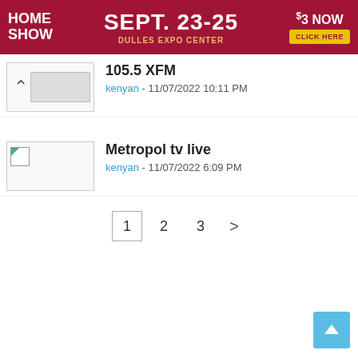[Figure (screenshot): Advertisement banner for Northern Virginia Home Show, Sept. 23-25, Dulles Expo Center, $3 Now, Click Here button. Dark red/maroon background.]
105.5 XFM
kenyan - 11/07/2022 10:11 PM
[Figure (photo): Broken/unloaded thumbnail image placeholder]
Metropol tv live
kenyan - 11/07/2022 6:09 PM
1  2  3  >